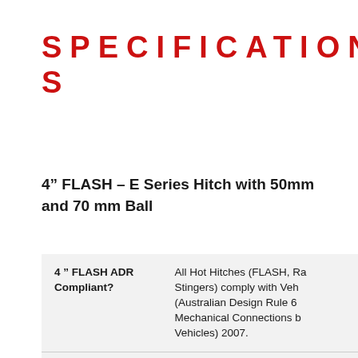SPECIFICATIONS
4" FLASH – E Series Hitch with 50mm and 70 mm Ball
|  |  |
| --- | --- |
| 4 " FLASH ADR Compliant? | All Hot Hitches (FLASH, Ra... Stingers) comply with Veh... (Australian Design Rule 6... Mechanical Connections b... Vehicles) 2007. |
| Model Number | PR42-02-2400 |